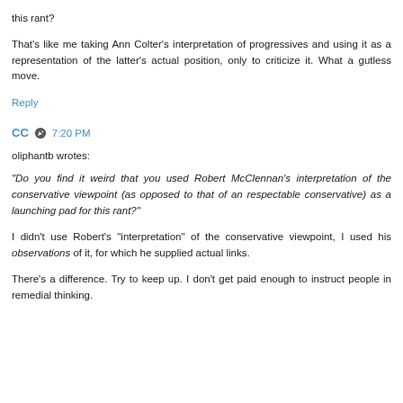this rant?
That's like me taking Ann Colter's interpretation of progressives and using it as a representation of the latter's actual position, only to criticize it. What a gutless move.
Reply
CC  7:20 PM
oliphantb wrotes:
"Do you find it weird that you used Robert McClennan's interpretation of the conservative viewpoint (as opposed to that of an respectable conservative) as a launching pad for this rant?"
I didn't use Robert's "interpretation" of the conservative viewpoint, I used his observations of it, for which he supplied actual links.
There's a difference. Try to keep up. I don't get paid enough to instruct people in remedial thinking.